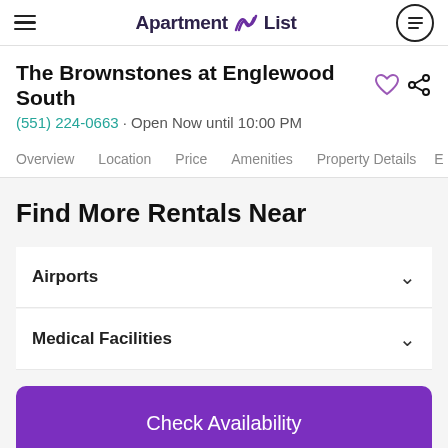Apartment List
The Brownstones at Englewood South
(551) 224-0663 · Open Now until 10:00 PM
Overview  Location  Price  Amenities  Property Details  E
Find More Rentals Near
Airports
Medical Facilities
Check Availability